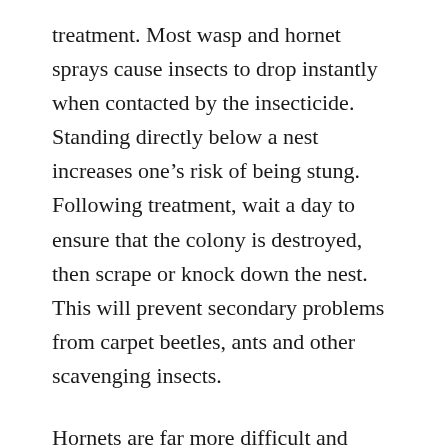treatment. Most wasp and hornet sprays cause insects to drop instantly when contacted by the insecticide. Standing directly below a nest increases one's risk of being stung. Following treatment, wait a day to ensure that the colony is destroyed, then scrape or knock down the nest. This will prevent secondary problems from carpet beetles, ants and other scavenging insects.
Hornets are far more difficult and dangerous to control than paper wasps. The nests resemble a large, inverted tear-drop shaped ball which typically is attached to a tree, bush or side of a building. Hornet nests may contain thousands of wasps which are extremely aggressive when